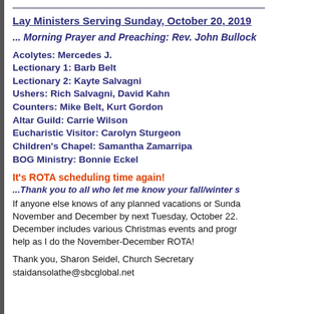Lay Ministers Serving Sunday, October 20, 2019
... Morning Prayer and Preaching: Rev. John Bullock
Acolytes: Mercedes J.
Lectionary 1: Barb Belt
Lectionary 2: Kayte Salvagni
Ushers: Rich Salvagni, David Kahn
Counters: Mike Belt, Kurt Gordon
Altar Guild: Carrie Wilson
Eucharistic Visitor: Carolyn Sturgeon
Children's Chapel: Samantha Zamarripa
BOG Ministry: Bonnie Eckel
It's ROTA scheduling time again!
...Thank you to all who let me know your fall/winter schedules...
If anyone else knows of any planned vacations or Sunday absences in November and December by next Tuesday, October 22. December includes various Christmas events and programs — your input will help as I do the November-December ROTA!
Thank you, Sharon Seidel, Church Secretary
staidansolathe@sbcglobal.net